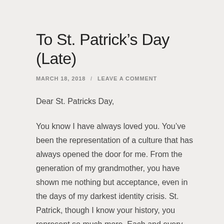To St. Patrick’s Day (Late)
MARCH 18, 2018 / LEAVE A COMMENT
Dear St. Patricks Day,
You know I have always loved you. You’ve been the representation of a culture that has always opened the door for me. From the generation of my grandmother, you have shown me nothing but acceptance, even in the days of my darkest identity crisis. St. Patrick, though I know your history, you represent so much more. Each and every year you come in the midsts of the season of Fasting, but an indulgence in you feels nothing like a sin. It’s an acceptance, a proving grounds of blood ties that I know flows through my veins. It’s the